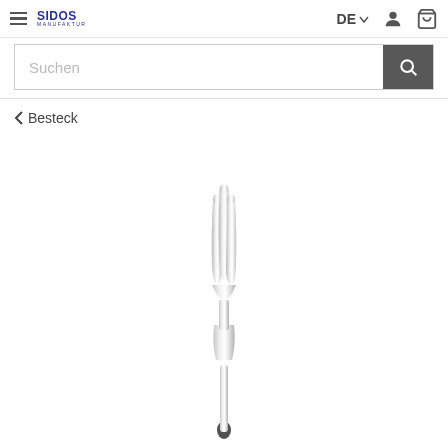SIDOS Manufaktur — DE navigation header with search bar
‹ Besteck
[Figure (photo): A silver/chrome three-tine fork with a decorative handle, shown vertically on a white background. The fork appears to be a high-quality cutlery item from Sidos Manufaktur.]